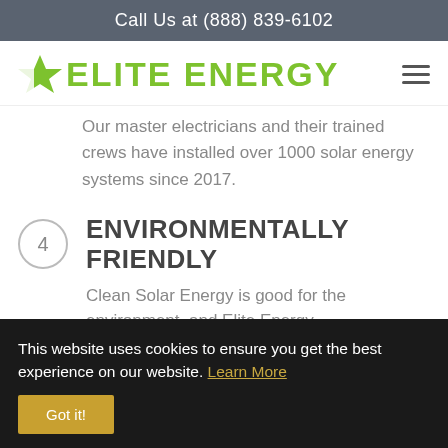Call Us at (888) 839-6102
[Figure (logo): Elite Energy logo with green star and green text reading ELITE ENERGY]
Our master electricians and their trained crews have installed over 1000 solar energy systems since 2017.
4 ENVIRONMENTALLY FRIENDLY
Clean Solar Energy is good for the environment, and Elite Energy...
This website uses cookies to ensure you get the best experience on our website. Learn More
Got it!